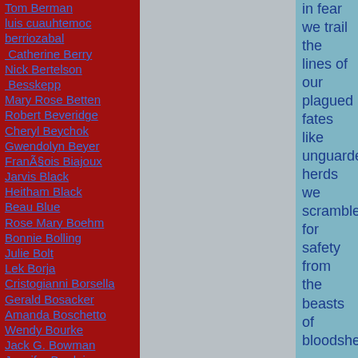Tom Berman
luis cuauhtemoc berriozabal
Catherine Berry
Nick Bertelson
Besskepp
Mary Rose Betten
Robert Beveridge
Cheryl Beychok
Gwendolyn Beyer
François Biajoux
Jarvis Black
Heitham Black
Beau Blue
Rose Mary Boehm
Bonnie Bolling
Julie Bolt
Lek Borja
Cristogianni Borsella
Gerald Bosacker
Amanda Boschetto
Wendy Bourke
Jack G. Bowman
Jennifer Bradpiece
in fear we trail the lines of our plagued fates like unguarded herds we scramble for safety from the beasts of bloodsheds...
we are without food, without peace...
v.
who shall teach us again the anthems of freedom? that we may pitch on the zeniths of broken voices
and plead pleas for true rains of